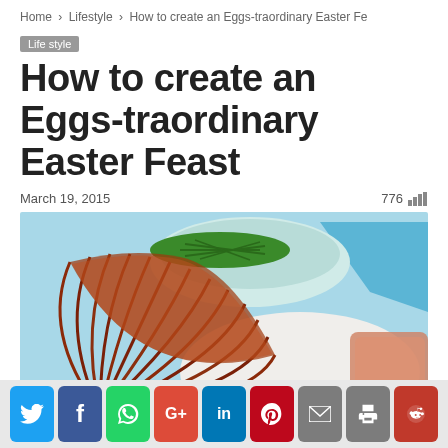Home › Lifestyle › How to create an Eggs-traordinary Easter Fe
How to create an Eggs-traordinary Easter Feast
March 19, 2015   776
[Figure (photo): A sliced glazed spiral ham on a white plate with a bowl of green beans in a light blue dish and a blue napkin in the background.]
[Figure (infographic): Social sharing buttons row: Twitter, Facebook, WhatsApp, Google+, LinkedIn, Pinterest, Email, Print, Reddit]